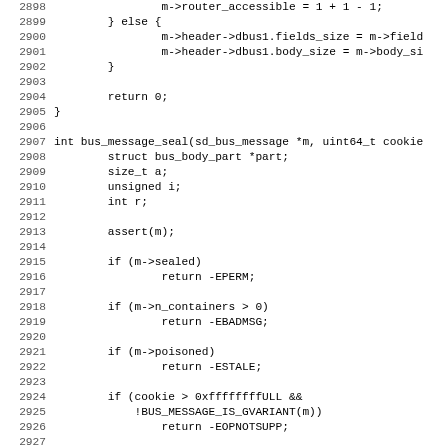Source code listing, lines 2898-2930, showing C function bus_message_seal and surrounding code including struct declarations, assert, conditional checks for sealed, n_containers, poisoned, cookie, and a comment about vtables.